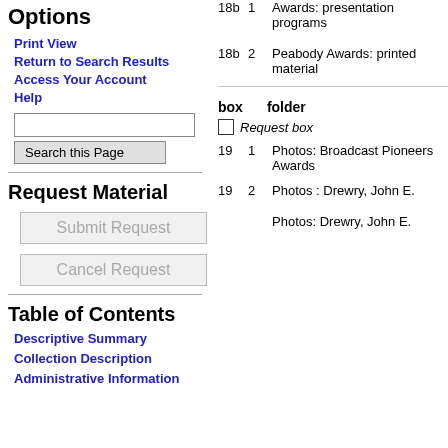Options
Print View
Return to Search Results
Access Your Account
Help
Request Material
Table of Contents
Descriptive Summary
Collection Description
Administrative Information
| box | folder |  |
| --- | --- | --- |
| 18b | 1 | Awards: presentation programs |
| 18b | 2 | Peabody Awards: printed material |
|  |  | box  folder |
|  |  | Request box |
| 19 | 1 | Photos: Broadcast Pioneers Awards |
| 19 | 2 | Photos : Drewry, John E. |
|  |  | Photos: Drewry, John E. |